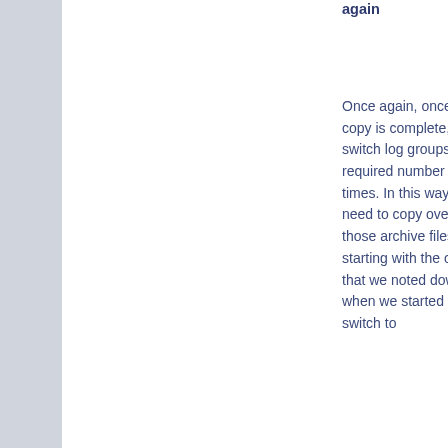again
Once again, once the copy is complete, switch log groups the required number of times. In this way we need to copy over only those archive files starting with the ones that we noted down when we started the log switch to